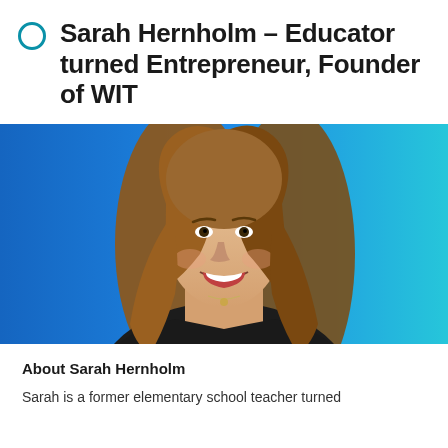Sarah Hernholm – Educator turned Entrepreneur, Founder of WIT
[Figure (photo): Professional headshot of Sarah Hernholm, a woman with long brown hair, wearing a black blazer, smiling broadly against a blue-to-teal gradient background.]
About Sarah Hernholm
Sarah is a former elementary school teacher turned